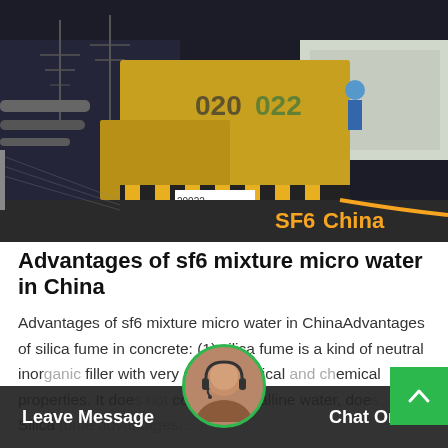[Figure (photo): Nighttime industrial scene showing a large yellow freight truck/container vehicle with markings '020' and '022' parked at what appears to be a power substation or industrial facility. A worker in blue uniform is visible on the vehicle platform. Power line towers visible in background. Orange SF6China watermark in lower right corner.]
Advantages of sf6 mixture micro water in China
Advantages of sf6 mixture micro water in ChinaAdvantages of silica fume in concrete: (1) silica fume is a kind of neutral inorganic filler with very stable physical and chemical properties. It does not contain crystalline water, does… Silica fume advantages...